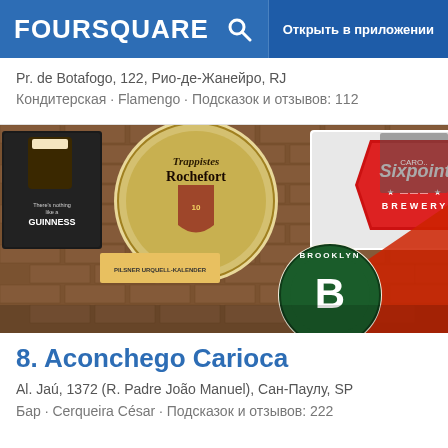FOURSQUARE | Открыть в приложении
Pr. de Botafogo, 122, Рио-де-Жанейро, RJ
Кондитерская · Flamengo · Подсказок и отзывов: 112
[Figure (photo): Photo of a bar wall covered in vintage beer brand signs including Sixpoint Brewery, Trappistes Rochefort, Guinness, Brooklyn Brewery, and others on a brick wall background.]
8. Aconchego Carioca
Al. Jaú, 1372 (R. Padre João Manuel), Сан-Паулу, SP
Бар · Cerqueira César · Подсказок и отзывов: 222